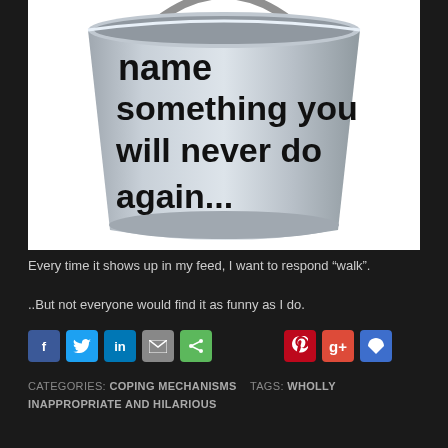[Figure (photo): A silver metal bucket with bold black text reading 'name something you will never do again...' printed on its surface, photographed against a white background.]
Every time it shows up in my feed, I want to respond “walk”.
..But not everyone would find it as funny as I do.
[Figure (other): Social media sharing buttons: Facebook, Twitter, LinkedIn, Email, Share, Pinterest, Google+, Flipboard]
CATEGORIES: COPING MECHANISMS   TAGS: WHOLLY INAPPROPRIATE AND HILARIOUS